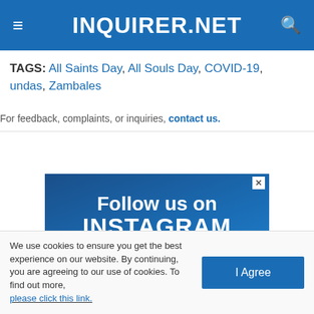INQUIRER.NET
TAGS: All Saints Day, All Souls Day, COVID-19, undas, Zambales
For feedback, complaints, or inquiries, contact us.
[Figure (infographic): Follow us on INSTAGRAM advertisement banner with blue background and close button]
We use cookies to ensure you get the best experience on our website. By continuing, you are agreeing to our use of cookies. To find out more, please click this link.